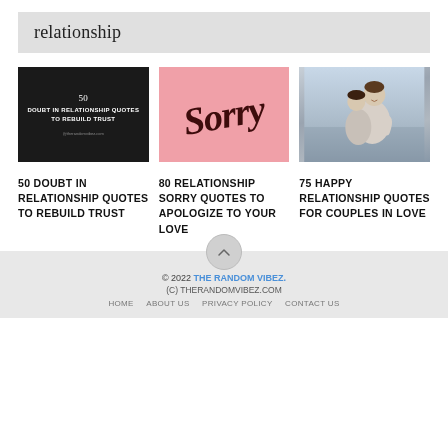relationship
[Figure (photo): Three article cards in a row: (1) Black background card with text '50 DOUBT IN RELATIONSHIP QUOTES TO REBUILD TRUST', (2) Pink background card with 'Sorry' in dark cursive script, (3) Photo of a smiling couple hugging outdoors]
50 DOUBT IN RELATIONSHIP QUOTES TO REBUILD TRUST
80 RELATIONSHIP SORRY QUOTES TO APOLOGIZE TO YOUR LOVE
75 HAPPY RELATIONSHIP QUOTES FOR COUPLES IN LOVE
© 2022 THE RANDOM VIBEZ. (C) THERANDOMVIBEZ.COM HOME ABOUT US PRIVACY POLICY CONTACT US